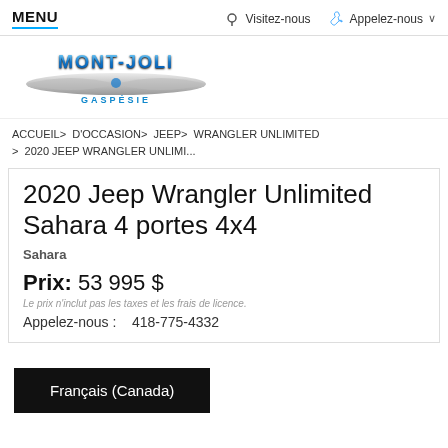MENU   Visitez-nous   Appelez-nous
[Figure (logo): Mont-Joli Chrysler Gaspésie logo with chrome wings and blue metallic lettering]
ACCUEIL > D'OCCASION > JEEP > WRANGLER UNLIMITED > 2020 JEEP WRANGLER UNLIMI...
2020 Jeep Wrangler Unlimited Sahara 4 portes 4x4
Sahara
Prix: 53 995 $
Le prix n'inclut pas les taxes et les frais de licence.
Appelez-nous :   418-775-4332
Français (Canada)